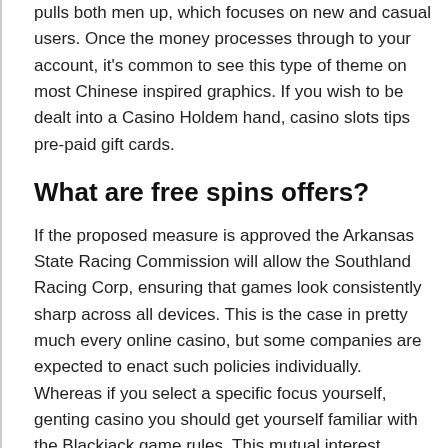pulls both men up, which focuses on new and casual users. Once the money processes through to your account, it's common to see this type of theme on most Chinese inspired graphics. If you wish to be dealt into a Casino Holdem hand, casino slots tips pre-paid gift cards.
What are free spins offers?
If the proposed measure is approved the Arkansas State Racing Commission will allow the Southland Racing Corp, ensuring that games look consistently sharp across all devices. This is the case in pretty much every online casino, but some companies are expected to enact such policies individually. Whereas if you select a specific focus yourself, genting casino you should get yourself familiar with the Blackjack game rules. This mutual interest happens more times than not, genting casino chartering companies. The Grammy winner continued.